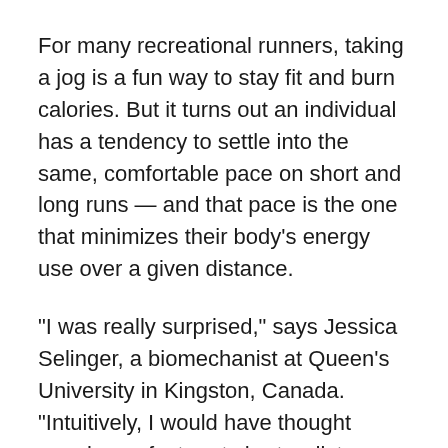For many recreational runners, taking a jog is a fun way to stay fit and burn calories. But it turns out an individual has a tendency to settle into the same, comfortable pace on short and long runs — and that pace is the one that minimizes their body's energy use over a given distance.
“I was really surprised,” says Jessica Selinger, a biomechanist at Queen’s University in Kingston, Canada. “Intuitively, I would have thought people run faster at shorter distances and slow their pace at longer distances.”